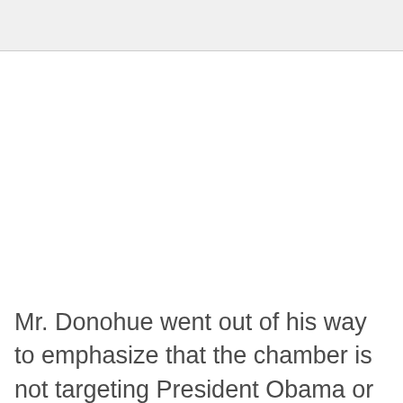[Figure (other): Gray rectangular banner/header image area at top of page]
Mr. Donohue went out of his way to emphasize that the chamber is not targeting President Obama or his administration.